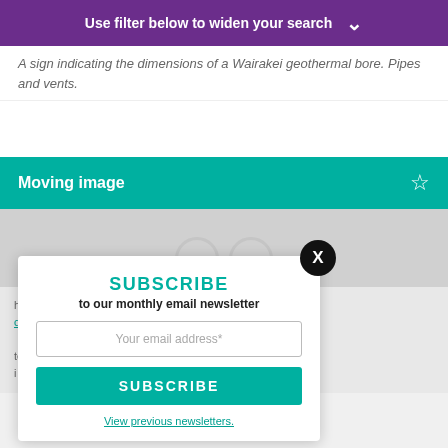Use filter below to widen your search ∨
A sign indicating the dimensions of a Wairakei geothermal bore. Pipes and vents.
Moving image
[Figure (screenshot): Gray placeholder area with two overlapping circular icons suggesting video/moving image content]
how you use our site, and make your experience
cy policy.
te rapu māramatanga ki te āhua o tō whakamahi
i tō whai wāhi mai. Ki te rapu kōrero anō
SUBSCRIBE
to our monthly email newsletter
Your email address*
SUBSCRIBE
View previous newsletters.